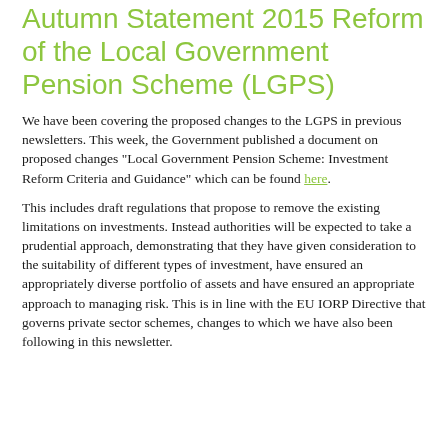Autumn Statement 2015 Reform of the Local Government Pension Scheme (LGPS)
We have been covering the proposed changes to the LGPS in previous newsletters. This week, the Government published a document on proposed changes "Local Government Pension Scheme: Investment Reform Criteria and Guidance" which can be found here.
This includes draft regulations that propose to remove the existing limitations on investments. Instead authorities will be expected to take a prudential approach, demonstrating that they have given consideration to the suitability of different types of investment, have ensured an appropriately diverse portfolio of assets and have ensured an appropriate approach to managing risk. This is in line with the EU IORP Directive that governs private sector schemes, changes to which we have also been following in this newsletter.